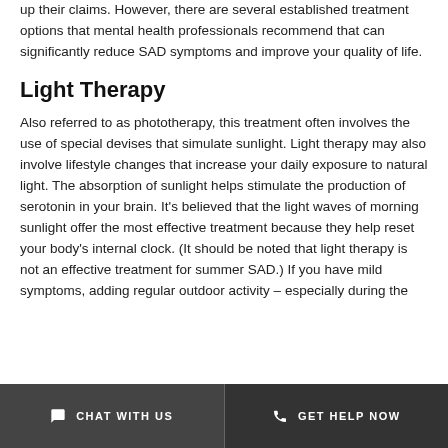up their claims. However, there are several established treatment options that mental health professionals recommend that can significantly reduce SAD symptoms and improve your quality of life.
Light Therapy
Also referred to as phototherapy, this treatment often involves the use of special devises that simulate sunlight. Light therapy may also involve lifestyle changes that increase your daily exposure to natural light. The absorption of sunlight helps stimulate the production of serotonin in your brain. It's believed that the light waves of morning sunlight offer the most effective treatment because they help reset your body's internal clock. (It should be noted that light therapy is not an effective treatment for summer SAD.) If you have mild symptoms, adding regular outdoor activity – especially during the
CHAT WITH US   GET HELP NOW